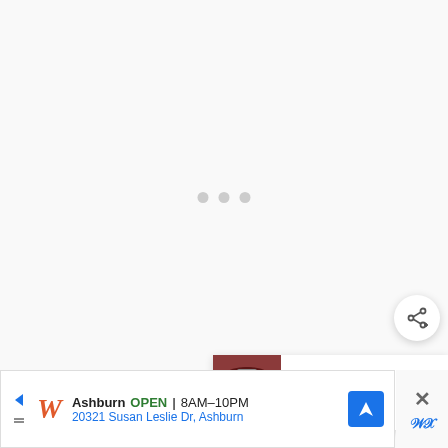[Figure (screenshot): Loading placeholder area with three grey dots centered in a light grey content area]
[Figure (screenshot): Share button (circular white button with share/add icon) in bottom right of content area]
[Figure (screenshot): What's Next panel showing thumbnail of Chokecherry Jelly jar and text 'WHAT'S NEXT → Chokecherry Jelly (and...']
Fine Cheesecloth (90 grade)
[Figure (screenshot): Walgreens advertisement banner: Ashburn OPEN | 8AM-10PM, 20321 Susan Leslie Dr, Ashburn, with map icon and dismiss button]